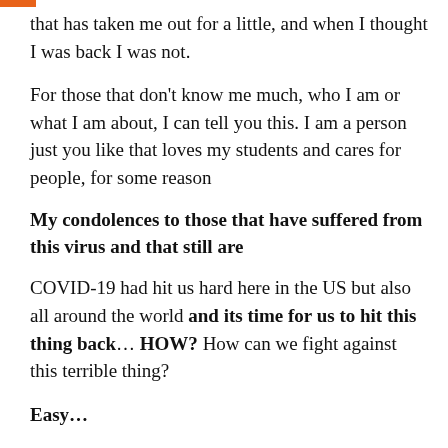that has taken me out for a little, and when I thought I was back I was not.
For those that don't know me much, who I am or what I am about, I can tell you this. I am a person just you like that loves my students and cares for people, for some reason
My condolences to those that have suffered from this virus and that still are
COVID-19 had hit us hard here in the US but also all around the world and its time for us to hit this thing back… HOW? How can we fight against this terrible thing?
Easy...